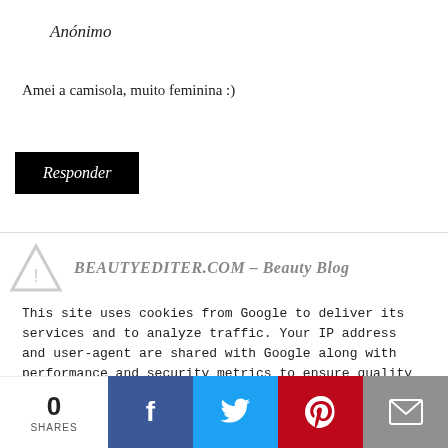Anónimo
Amei a camisola, muito feminina :)
Responder
[Figure (logo): Triangle/warning icon with BEAUTYEDITOR.COM – Beauty Blog text]
This site uses cookies from Google to deliver its services and to analyze traffic. Your IP address and user-agent are shared with Google along with performance and security metrics to ensure quality of service, generate usage statistics, and to detect and address abuse.
xoxo;
STYLEFORMANKIND.COM
Facebook / Bloglovin
0
SHARES